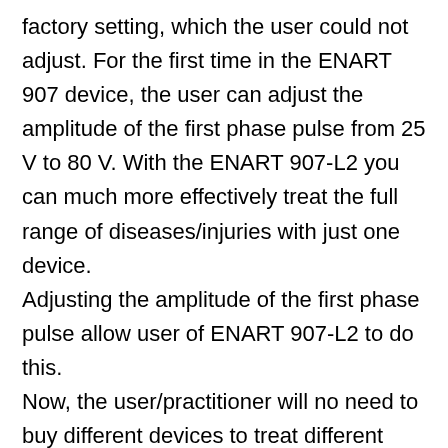factory setting, which the user could not adjust. For the first time in the ENART 907 device, the user can adjust the amplitude of the first phase pulse from 25 V to 80 V. With the ENART 907-L2 you can much more effectively treat the full range of diseases/injuries with just one device. Adjusting the amplitude of the first phase pulse allow user of ENART 907-L2 to do this. Now, the user/practitioner will no need to buy different devices to treat different specific diseases, but only one for whole range of diseases.
Main characteristics:
Has the basic functions of a professional model: